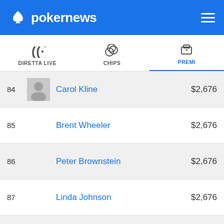pokernews
DIRETTA LIVE | CHIPS | PREMI
| # | Name | Prize |
| --- | --- | --- |
| 84 | Carol Kline | $2,676 |
| 85 | Brent Wheeler | $2,676 |
| 86 | Peter Brownstein | $2,676 |
| 87 | Linda Johnson | $2,676 |
| 88 | Martin Staszko | $2,676 |
| 89 | Michael Rosenberg | $2,676 |